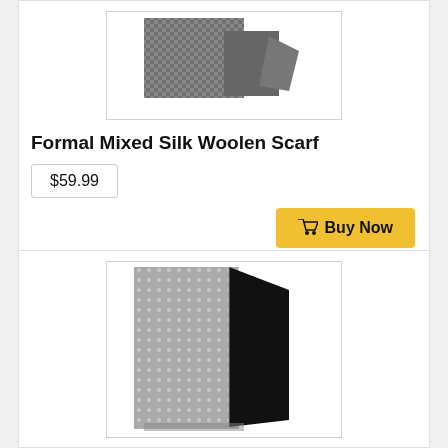[Figure (photo): Folded grey houndstooth patterned silk woolen scarf on white background]
Formal Mixed Silk Woolen Scarf
$59.99
Buy Now
[Figure (photo): Folded black and white geometric patterned scarf showing both sides on white background]